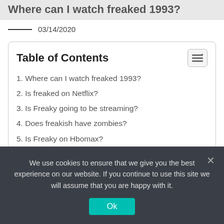Where can I watch freaked 1993?
03/14/2020
| Table of Contents |
| --- |
| 1. Where can I watch freaked 1993? |
| 2. Is freaked on Netflix? |
| 3. Is Freaky going to be streaming? |
| 4. Does freakish have zombies? |
| 5. Is Freaky on Hbomax? |
Where can I watch freaked 1993?
We use cookies to ensure that we give you the best experience on our website. If you continue to use this site we will assume that you are happy with it.